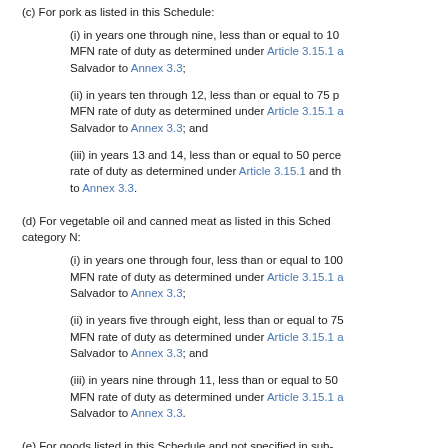(c) For pork as listed in this Schedule:
(i) in years one through nine, less than or equal to 100 percent of the MFN rate of duty as determined under Article 3.15.1 and the commitment of El Salvador to Annex 3.3;
(ii) in years ten through 12, less than or equal to 75 percent of the MFN rate of duty as determined under Article 3.15.1 and the commitment of El Salvador to Annex 3.3; and
(iii) in years 13 and 14, less than or equal to 50 percent of the MFN rate of duty as determined under Article 3.15.1 and the commitment of El Salvador to Annex 3.3.
(d) For vegetable oil and canned meat as listed in this Schedule under staging category N:
(i) in years one through four, less than or equal to 100 percent of the MFN rate of duty as determined under Article 3.15.1 and the commitment of El Salvador to Annex 3.3;
(ii) in years five through eight, less than or equal to 75 percent of the MFN rate of duty as determined under Article 3.15.1 and the commitment of El Salvador to Annex 3.3; and
(iii) in years nine through 11, less than or equal to 50 percent of the MFN rate of duty as determined under Article 3.15.1 and the commitment of El Salvador to Annex 3.3.
(e) For goods listed in this Schedule and not specified in sub-